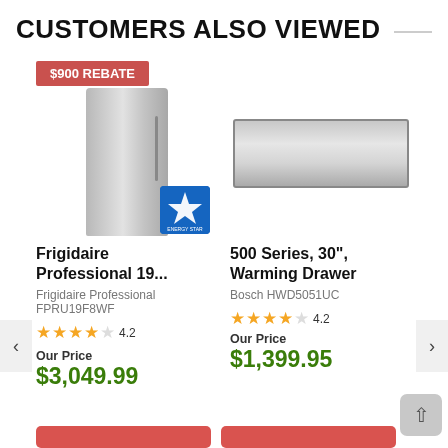CUSTOMERS ALSO VIEWED
[Figure (photo): Frigidaire Professional stainless steel refrigerator with $900 Rebate badge and Energy Star logo]
Frigidaire Professional 19...
Frigidaire Professional FPRU19F8WF
4.2 stars
Our Price
$3,049.99
[Figure (photo): Bosch 500 Series stainless steel warming drawer]
500 Series, 30", Warming Drawer
Bosch HWD5051UC
4.2 stars
Our Price
$1,399.95